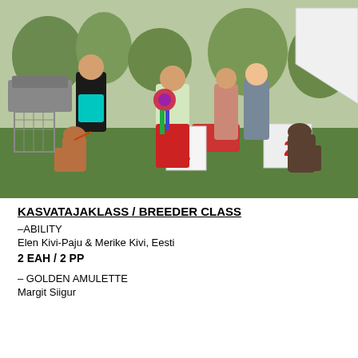[Figure (photo): Outdoor dog show scene on a grass field. People standing with boxer dogs. A woman in a red pants and light jacket holds colorful rosette ribbons. A man in a black vest and turquoise shorts stands with a fawn boxer on a leash. A brindle boxer stands near a sign with the number 2. Numbered placement signs visible on the ground. Trees and a white tent in the background.]
KASVATAJAKLASS / BREEDER CLASS
–ABILITY
Elen Kivi-Paju & Merike Kivi, Eesti
2 EAH / 2 PP
– GOLDEN AMULETTE
Margit Siigur